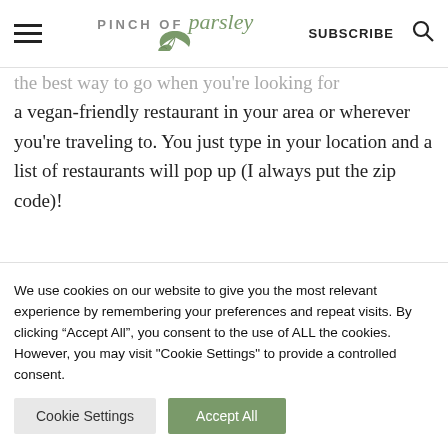PINCH OF parsley — SUBSCRIBE
the best way to go when you're looking for a vegan-friendly restaurant in your area or wherever you're traveling to. You just type in your location and a list of restaurants will pop up (I always put the zip code)!
We use cookies on our website to give you the most relevant experience by remembering your preferences and repeat visits. By clicking “Accept All”, you consent to the use of ALL the cookies. However, you may visit "Cookie Settings" to provide a controlled consent.